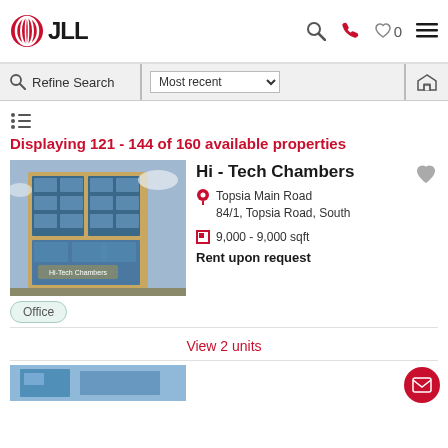JLL
Refine Search | Most recent | Map
Displaying 121 - 144 of 160 available properties
[Figure (photo): Hi-Tech Chambers building exterior — a modern glass-facade multi-storey office building]
Hi - Tech Chambers
Topsia Main Road
84/1, Topsia Road, South
9,000 - 9,000 sqft
Rent upon request
Office
View 2 units
[Figure (photo): Partial view of another property building (bottom, cropped)]